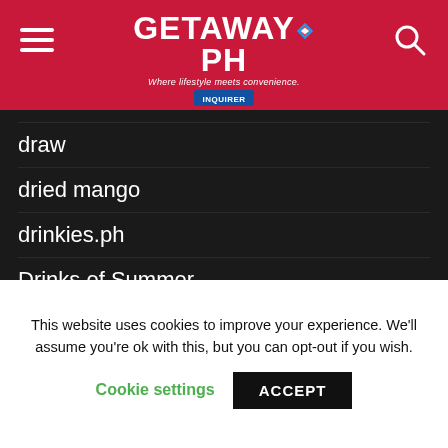GETAWAY PH - Where lifestyle meets convenience. INQUIRER
draw
dried mango
drinkies.ph
Drinks of Summer
Drive Dine and Discover
Drive Dine and Discover program
drivehub
DTI
DTI Bagsakan
This website uses cookies to improve your experience. We'll assume you're ok with this, but you can opt-out if you wish. Cookie settings ACCEPT